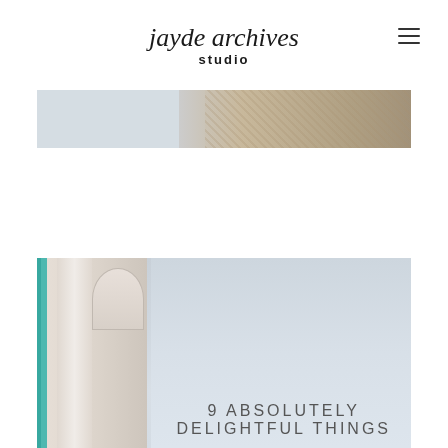jayde archives studio
[Figure (photo): Partial view of an ornate building with decorative stonework against a light sky, top banner image]
[Figure (photo): Art deco or classical building facade with teal/turquoise window trim on the left, ornate white stone detailing, against a pale grey sky. Text overlay reads: 9 ABSOLUTELY DELIGHTFUL THINGS]